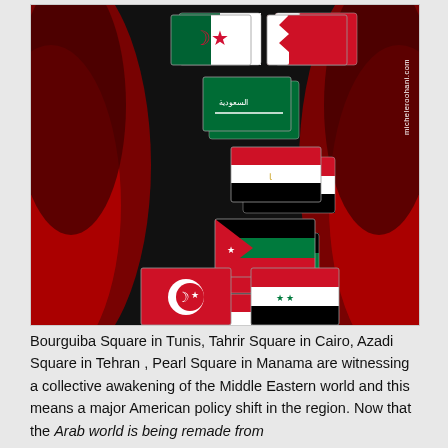[Figure (illustration): Infographic showing Arab flags (Algeria, Bahrain, Saudi Arabia, Egypt, Jordan, Yemen, Tunisia, Syria) arranged vertically on a dramatic black and red background with silhouettes. Watermark 'micheleroohani.com' on the right side.]
Bourguiba Square in Tunis, Tahrir Square in Cairo, Azadi Square in Tehran , Pearl Square in Manama are witnessing a collective awakening of the Middle Eastern world and this means a major American policy shift in the region. Now that the Arab world is being remade from